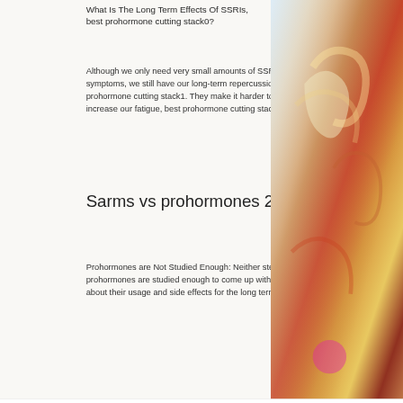What Is The Long Term Effects Of SSRIs, best prohormone cutting stack0?
Although we only need very small amounts of SSRIs to treat our symptoms, we still have our long-term repercussions, best prohormone cutting stack1. They make it harder to function and increase our fatigue, best prohormone cutting stack2.
Sarms vs prohormones 2020
Prohormones are Not Studied Enough: Neither steroids nor prohormones are studied enough to come up with scientific opinions about their usage and side effects for the long term.
[Figure (illustration): Colorful artistic painting/illustration visible on right side of page]
Email   Faceb...   Instagr...   Twitter   Pinterest